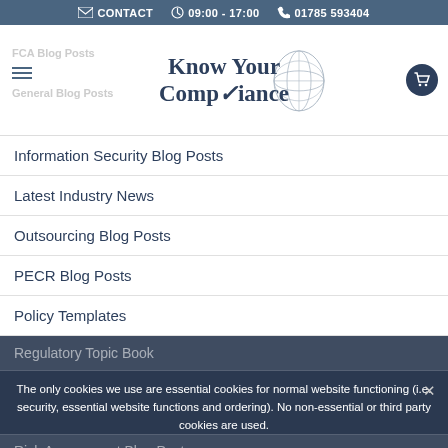CONTACT   09:00 - 17:00   01785 593404
[Figure (logo): Know Your Compliance logo with world map graphic]
Information Security Blog Posts
Latest Industry News
Outsourcing Blog Posts
PECR Blog Posts
Policy Templates
Regulatory Topic Book
Risk Assessment Blog Posts
SMCR Blog Posts
The only cookies we use are essential cookies for normal website functioning (i.e. security, essential website functions and ordering). No non-essential or third party cookies are used.